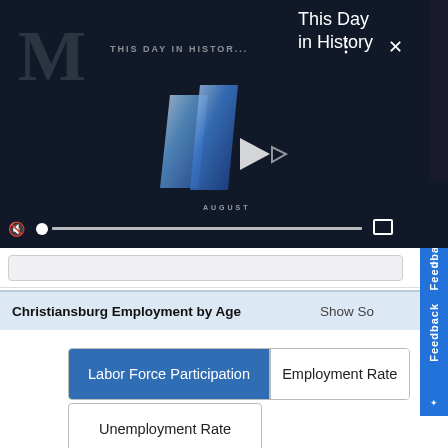[Figure (screenshot): Video player showing 'This Day in History' with play button, mute icon, progress bar, and fullscreen icon on dark background]
This Day in History
[Figure (screenshot): Search input bar (partially visible)]
Christiansburg Employment by Age
Show So
[Figure (screenshot): Tab buttons: 'Labor Force Participation' (active/blue), 'Employment Rate', and 'Unemployment Rate']
[Figure (screenshot): Filter icon (triangle/funnel shape) at bottom left]
[Figure (screenshot): Close X circular button at bottom right]
[Figure (screenshot): Disney Bundle advertisement banner with hulu, Disney+, ESPN+ logos and 'GET THE DISNEY BUNDLE' call to action]